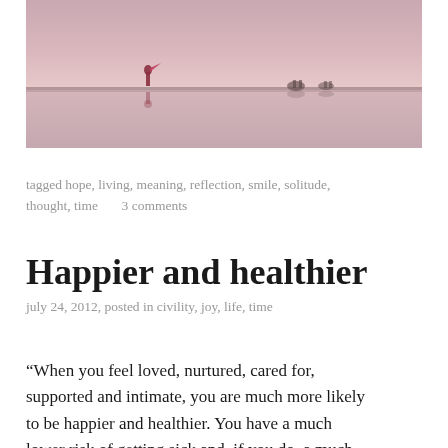[Figure (photo): Photograph of a person standing on a narrow strip or bridge over calm water with pink/purple sky, with reflections visible in the water and silhouettes of animals in the background]
tagged hope, living, meaning, reflection, smile, solitude, thought, time     3 comments
Happier and healthier
july 24, 2012, posted in civility, joy, life, time
“When you feel loved, nurtured, cared for, supported and intimate, you are much more likely to be happier and healthier. You have a much lower risk of getting sick and, if you do, a much